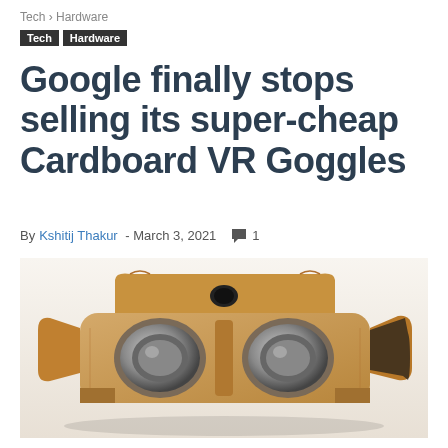Tech › Hardware
Tech  Hardware
Google finally stops selling its super-cheap Cardboard VR Goggles
By Kshitij Thakur - March 3, 2021  💬 1
[Figure (photo): Google Cardboard VR goggles made of tan/brown cardboard with two circular lenses, sitting on a white background]